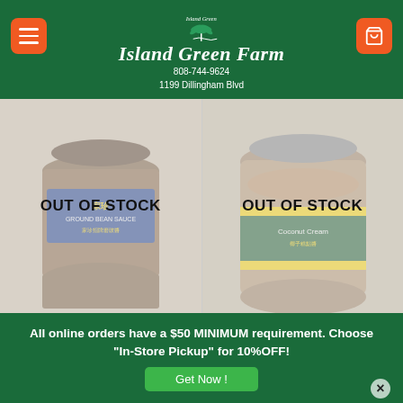[Figure (screenshot): Island Green Farm website header with dark green background, orange hamburger menu button on the left, palm tree logo and store name 'Island Green Farm' with phone number 808-744-9624 and address 1199 Dillingham Blvd centered, orange shopping cart button on the right]
[Figure (photo): Product image of a jar of Ground Bean Sauce with blue label, shown with OUT OF STOCK overlay]
[Figure (photo): Product image of a jar of Coconut Cream / fermented product with green/yellow label, shown with OUT OF STOCK overlay]
All online orders have a $50 MINIMUM requirement. Choose "In-Store Pickup" for 10%OFF!